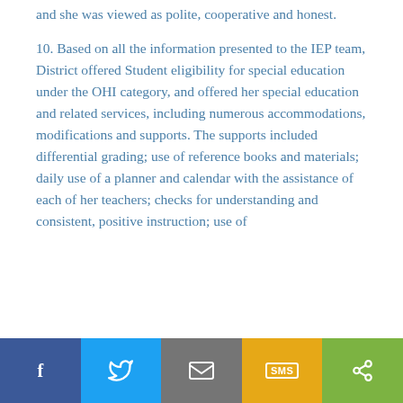and she was viewed as polite, cooperative and honest.
10. Based on all the information presented to the IEP team, District offered Student eligibility for special education under the OHI category, and offered her special education and related services, including numerous accommodations, modifications and supports. The supports included differential grading; use of reference books and materials; daily use of a planner and calendar with the assistance of each of her teachers; checks for understanding and consistent, positive instruction; use of